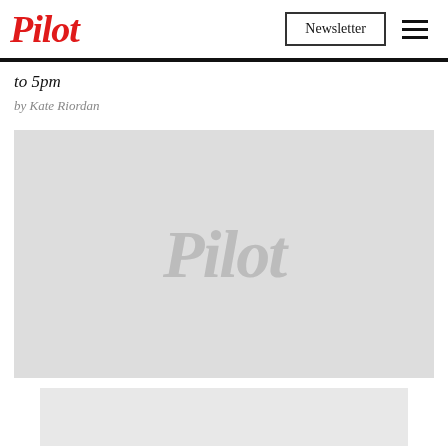Pilot | Newsletter
to 5pm
by Kate Riordan
[Figure (illustration): Large light grey placeholder image with italic 'Pilot' watermark text in grey centered on the image]
[Figure (photo): Small light grey placeholder image at the bottom of the page]